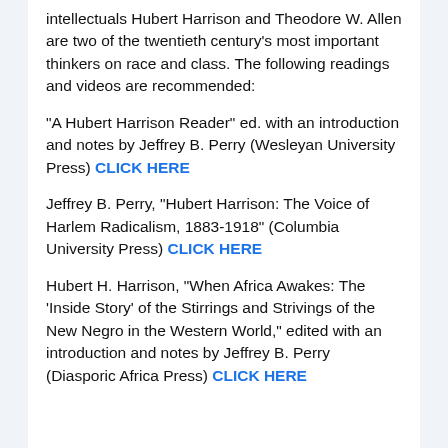intellectuals Hubert Harrison and Theodore W. Allen are two of the twentieth century's most important thinkers on race and class. The following readings and videos are recommended:
“A Hubert Harrison Reader” ed. with an introduction and notes by Jeffrey B. Perry (Wesleyan University Press) CLICK HERE
Jeffrey B. Perry, “Hubert Harrison: The Voice of Harlem Radicalism, 1883-1918” (Columbia University Press) CLICK HERE
Hubert H. Harrison, “When Africa Awakes: The ‘Inside Story’ of the Stirrings and Strivings of the New Negro in the Western World,” edited with an introduction and notes by Jeffrey B. Perry (Diasporic Africa Press) CLICK HERE